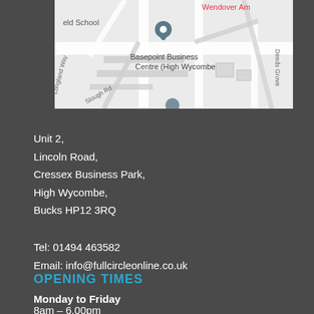[Figure (map): Google Maps view showing Basepoint Business Centre (High Wycombe) with a location pin marker, streets including Longland Way, Slough Rd, Deeds Grove, and partially visible text 'Wendover Am' in red at top right. Schools and roads visible on light grey map background.]
Unit 2,
Lincoln Road,
Cressex Business Park,
High Wycombe,
Bucks HP12 3RQ
Tel: 01494 463582
Email: info@fullcircleonline.co.uk
OPENING TIMES
Monday to Friday
8am – 6.00pm